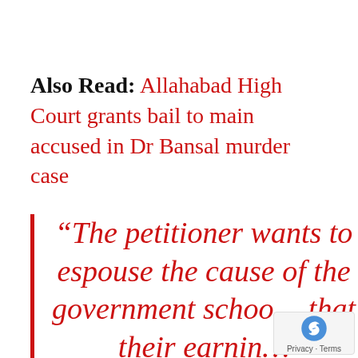Also Read: Allahabad High Court grants bail to main accused in Dr Bansal murder case
“The petitioner wants to espouse the cause of the government school that their earning